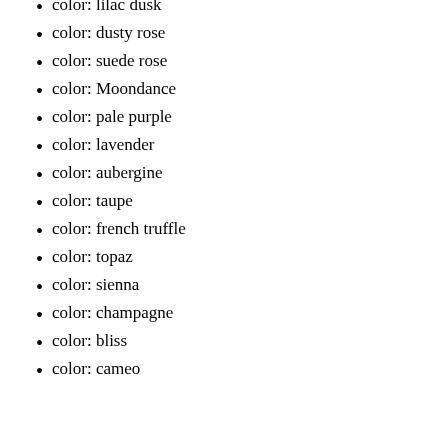color: lilac dusk
color: dusty rose
color: suede rose
color: Moondance
color: pale purple
color: lavender
color: aubergine
color: taupe
color: french truffle
color: topaz
color: sienna
color: champagne
color: bliss
color: cameo